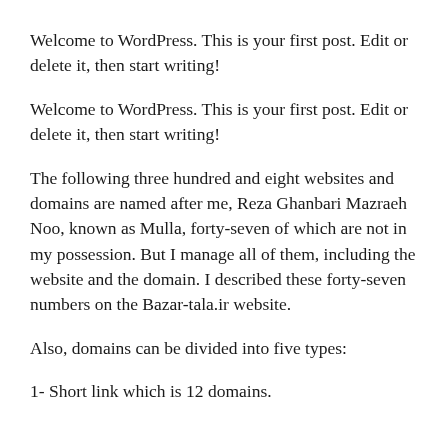Welcome to WordPress. This is your first post. Edit or delete it, then start writing!
Welcome to WordPress. This is your first post. Edit or delete it, then start writing!
The following three hundred and eight websites and domains are named after me, Reza Ghanbari Mazraeh Noo, known as Mulla, forty-seven of which are not in my possession. But I manage all of them, including the website and the domain. I described these forty-seven numbers on the Bazar-tala.ir website.
Also, domains can be divided into five types:
1- Short link which is 12 domains.